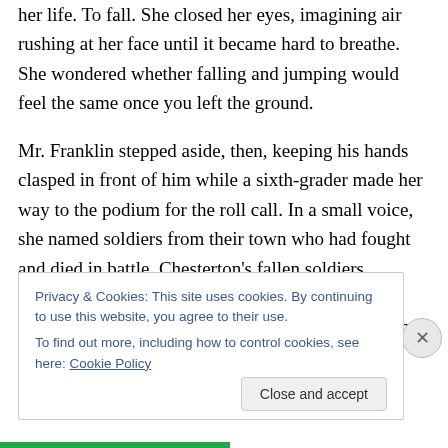her life. To fall. She closed her eyes, imagining air rushing at her face until it became hard to breathe. She wondered whether falling and jumping would feel the same once you left the ground.
Mr. Franklin stepped aside, then, keeping his hands clasped in front of him while a sixth-grader made her way to the podium for the roll call. In a small voice, she named soldiers from their town who had fought and died in battle. Chesterton's fallen soldiers. Elinor's eyes widened as the names continued, knowing, for each one, a family had mourned, trying to be comforted by words like bravery and
Privacy & Cookies: This site uses cookies. By continuing to use this website, you agree to their use.
To find out more, including how to control cookies, see here: Cookie Policy